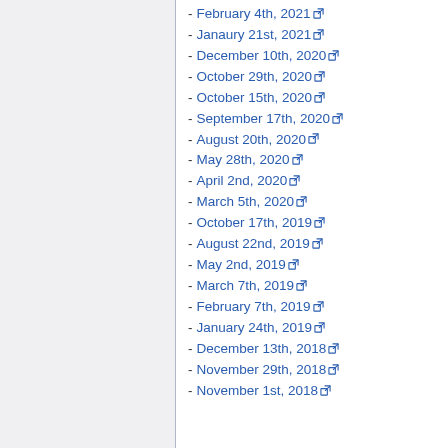- February 4th, 2021
- Janaury 21st, 2021
- December 10th, 2020
- October 29th, 2020
- October 15th, 2020
- September 17th, 2020
- August 20th, 2020
- May 28th, 2020
- April 2nd, 2020
- March 5th, 2020
- October 17th, 2019
- August 22nd, 2019
- May 2nd, 2019
- March 7th, 2019
- February 7th, 2019
- January 24th, 2019
- December 13th, 2018
- November 29th, 2018
- November 1st, 2018